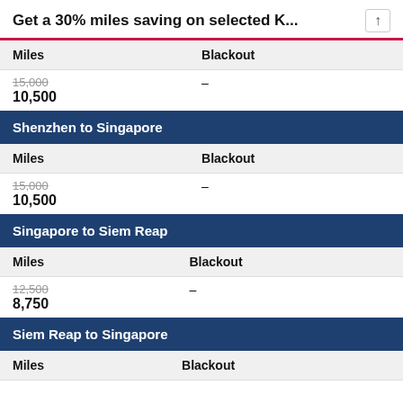Get a 30% miles saving on selected K...
| Miles | Blackout |
| --- | --- |
| 15,000 / 10,500 | – |
Shenzhen to Singapore
| Miles | Blackout |
| --- | --- |
| 15,000 / 10,500 | – |
Singapore to Siem Reap
| Miles | Blackout |
| --- | --- |
| 12,500 / 8,750 | – |
Siem Reap to Singapore
| Miles | Blackout |
| --- | --- |